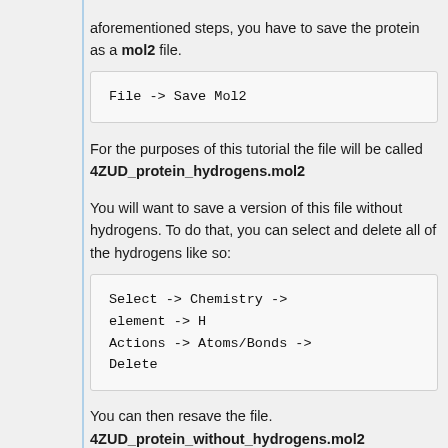aforementioned steps, you have to save the protein as a mol2 file.
File -> Save Mol2
For the purposes of this tutorial the file will be called
4ZUD_protein_hydrogens.mol2
You will want to save a version of this file without hydrogens. To do that, you can select and delete all of the hydrogens like so:
Select -> Chemistry -> element -> H
Actions -> Atoms/Bonds -> Delete
You can then resave the file.
4ZUD_protein_without_hydrogens.mol2